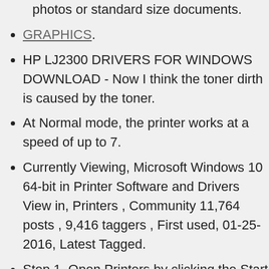photos or standard size documents.
GRAPHICS.
HP LJ2300 DRIVERS FOR WINDOWS DOWNLOAD - Now I think the toner dirth is caused by the toner.
At Normal mode, the printer works at a speed of up to 7.
Currently Viewing, Microsoft Windows 10 64-bit in Printer Software and Drivers View in, Printers , Community 11,764 posts , 9,416 taggers , First used, 01-25-2016, Latest Tagged.
Step 1, Open Printers by clicking the Start button.
Use the HP Printer Assistant software of your printer, it can be accessed from Start > Programs > HP > Your printer's folder, then click your printer name icon to open the HP Printer Assistant, from there you may manage the printer and contacts scanning and